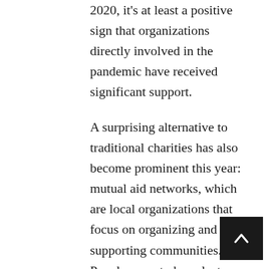2020, it's at least a positive sign that organizations directly involved in the pandemic have received significant support.
A surprising alternative to traditional charities has also become prominent this year: mutual aid networks, which are local organizations that focus on organizing and supporting communities. People seem to have lost some of the faith they once had in traditional institutions, so emphasis has been given to local residents doing what they can to solve local problems. Rather than simply giving out money or goods to individuals, mutual aid networks focus on organized problem-solving and promoting a sense of cooperation within their communities. Because these organizations involve so much direct participation from the communities they serve, anyone benefited by the